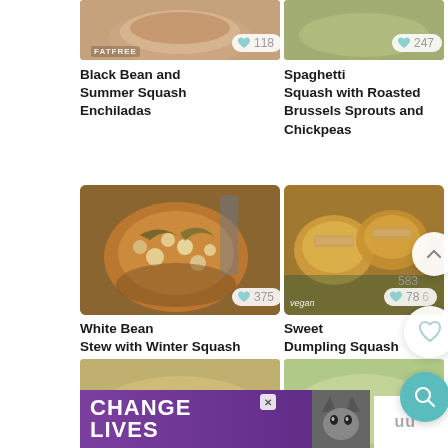[Figure (photo): Photo of Black Bean and Summer Squash Enchiladas in a white dish]
118
Black Bean and Summer Squash Enchiladas
[Figure (photo): Photo of Spaghetti Squash with Roasted Brussels Sprouts and Chickpeas on a plate]
247
Spaghetti Squash with Roasted Brussels Sprouts and Chickpeas
[Figure (photo): Photo of White Bean Stew with Winter Squash and Kale in a bowl]
375
White Bean Stew with Winter Squash and Kale Recipe
[Figure (photo): Photo of Sweet Dumpling Squash Stuffed with Lemon-Herb Rice]
583
786
Sweet Dumpling Squash Stuffed with Lemon-Herb Rice
[Figure (photo): Partial photo visible at bottom left]
[Figure (photo): Partial photo visible at bottom right]
[Figure (other): Advertisement banner: CHANGE LIVES with cat image]